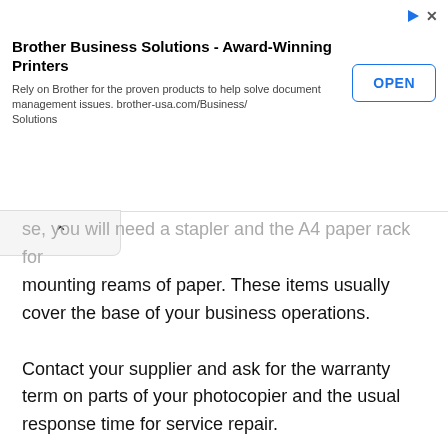[Figure (other): Brother Business Solutions advertisement banner with OPEN button and close/play icons]
se, you will need a stapler and the A4 paper rack for mounting reams of paper. These items usually cover the base of your business operations.
Contact your supplier and ask for the warranty term on parts of your photocopier and the usual response time for service repair.
Photocopiers breakdown frequently (paper jams, moisture, alignment problems, etc.). You want to cover all the major parts with one-year warranty and a less-than-24-hours response time when repairing them.